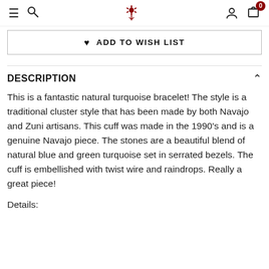Menu | Search | [Logo] | Account | Cart 0
♥ ADD TO WISH LIST
DESCRIPTION
This is a fantastic natural turquoise bracelet! The style is a traditional cluster style that has been made by both Navajo and Zuni artisans. This cuff was made in the 1990's and is a genuine Navajo piece. The stones are a beautiful blend of natural blue and green turquoise set in serrated bezels. The cuff is embellished with twist wire and raindrops. Really a great piece!
Details: